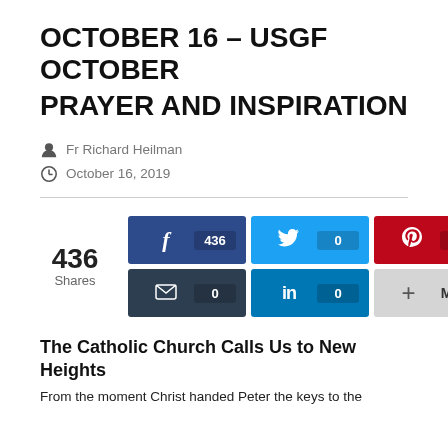OCTOBER 16 – USGF OCTOBER PRAYER AND INSPIRATION
Fr Richard Heilman
October 16, 2019
436 Shares
[Figure (infographic): Social share buttons: Facebook 436, Twitter 0, Pinterest 0, Email 0, LinkedIn 0, More]
The Catholic Church Calls Us to New Heights
From the moment Christ handed Peter the keys to the